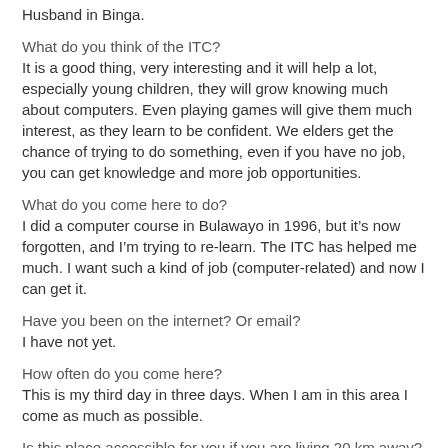Husband in Binga.
What do you think of the ITC?
It is a good thing, very interesting and it will help a lot, especially young children, they will grow knowing much about computers. Even playing games will give them much interest, as they learn to be confident. We elders get the chance of trying to do something, even if you have no job, you can get knowledge and more job opportunities.
What do you come here to do?
I did a computer course in Bulawayo in 1996, but it’s now forgotten, and I’m trying to re-learn. The ITC has helped me much. I want such a kind of job (computer-related) and now I can get it.
Have you been on the internet? Or email?
I have not yet.
How often do you come here?
This is my third day in three days. When I am in this area I come as much as possible.
Is this place accessible for you if you are living 20 km away?
It is a distance for me, but still closer than Bulawayo (+450km). And that is very expensive.